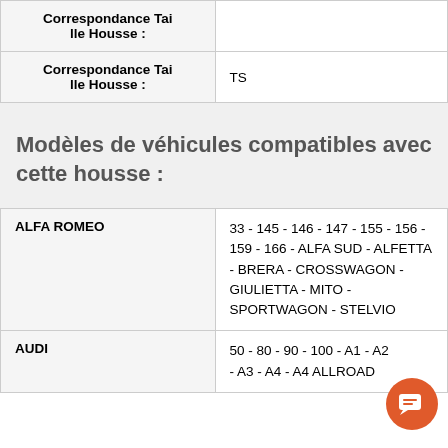| Correspondance Taille Housse : |  |
| --- | --- |
| Correspondance Taille Housse : | TS |
Modèles de véhicules compatibles avec cette housse :
| Brand | Models |
| --- | --- |
| ALFA ROMEO | 33 - 145 - 146 - 147 - 155 - 156 - 159 - 166 - ALFA SUD - ALFETTA - BRERA - CROSSWAGON - GIULIETTA - MITO - SPORTWAGON - STELVIO |
| AUDI | 50 - 80 - 90 - 100 - A1 - A2 - A3 - A4 - A4 ALLROAD |